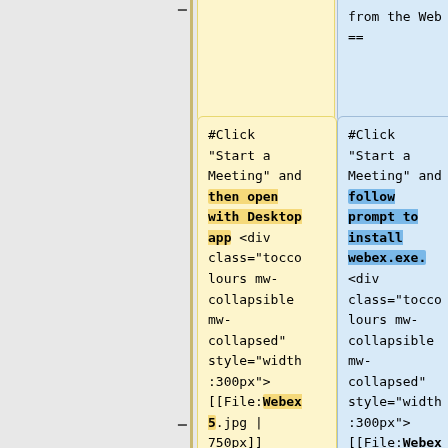[Figure (screenshot): A wiki diff/comparison view showing two columns of wiki markup text. Left column (yellow) shows code for clicking Start a Meeting then opening with Desktop app, with highlighted text 'then open with Desktop app' and '[[File:Webex 5.jpg | 750px]]'. Right column (blue) shows code for clicking Start a Meeting then following prompt to install webex.exe, with highlighted text 'follow prompt to install webex.exe.' and '[[File:Webex 6.jpg | 750px]]'. Both columns contain div markup with class='toccol ours mw-collapsible mw-collapsed' style='width:300px'>. Timeline markers show minus on left and plus on right.]